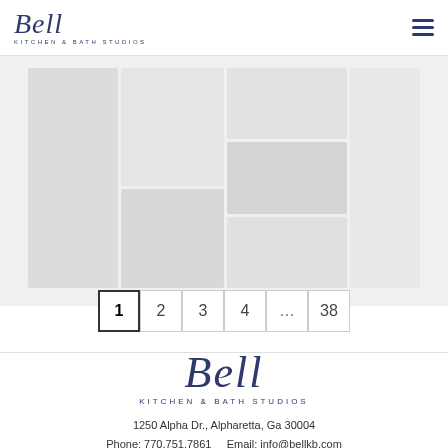[Figure (logo): Bell Kitchen & Bath Studios logo in navy blue script with subtitle]
[Figure (photo): Gallery mosaic of kitchen and bath studio interior photos, faded/light treatment]
1  2  3  4  ...  38
[Figure (logo): Bell Kitchen & Bath Studios large footer logo in navy blue script]
1250 Alpha Dr., Alpharetta, Ga 30004
Phone: 770.751.7861    Email: info@bellkb.com